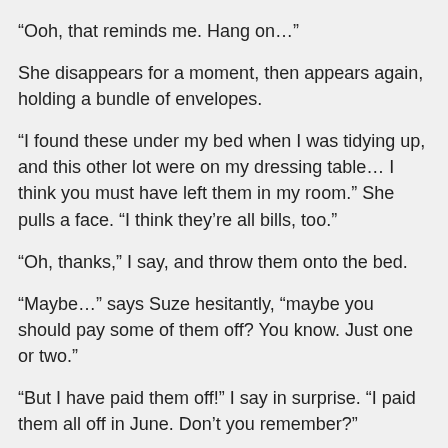“Ooh, that reminds me. Hang on…”
She disappears for a moment, then appears again, holding a bundle of envelopes.
“I found these under my bed when I was tidying up, and this other lot were on my dressing table… I think you must have left them in my room.” She pulls a face. “I think they’re all bills, too.”
“Oh, thanks,” I say, and throw them onto the bed.
“Maybe…” says Suze hesitantly, “maybe you should pay some of them off? You know. Just one or two.”
“But I have paid them off!” I say in surprise. “I paid them all off in June. Don’t you remember?”